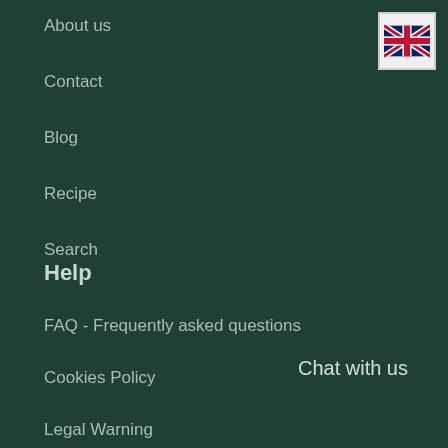About us
Contact
Blog
Recipe
Search
[Figure (illustration): UK flag icon in a white box, top right corner]
Help
FAQ - Frequently asked questions
Cookies Policy
Legal Warning
Chat with us